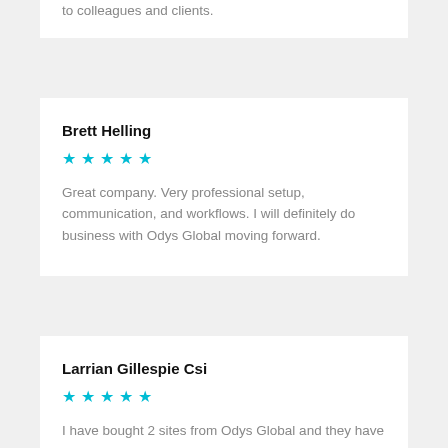to colleagues and clients.
Brett Helling
[Figure (other): 5 teal stars rating]
Great company. Very professional setup, communication, and workflows. I will definitely do business with Odys Global moving forward.
Larrian Gillespie Csi
[Figure (other): 5 teal stars rating]
I have bought 2 sites from Odys Global and they have both been of high quality with great backlinks. I have used one as